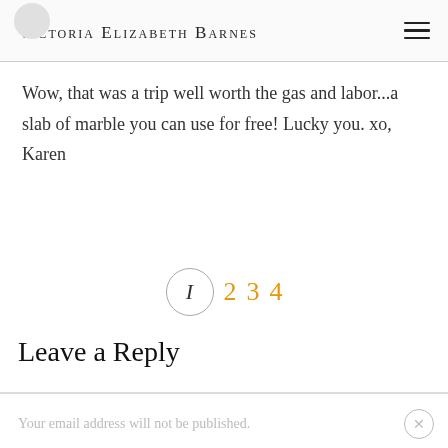Victoria Elizabeth Barnes
Wow, that was a trip well worth the gas and labor...a slab of marble you can use for free! Lucky you. xo, Karen
1 2 3 4
Leave a Reply
Your email address will not be published.